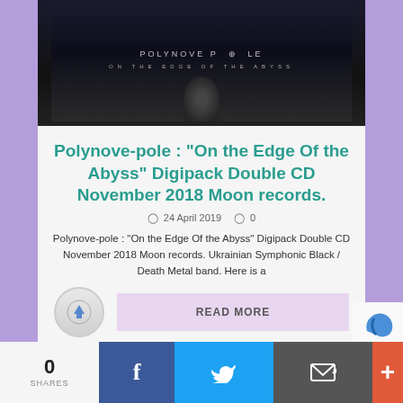[Figure (photo): Album cover image for Polynove Pole 'On the Edge of the Abyss' – dark background with band name text and a face silhouette]
Polynove-pole : “On the Edge Of the Abyss” Digipack Double CD November 2018 Moon records.
ⓘ 24 April 2019   💬 0
Polynove-pole : “On the Edge Of the Abyss” Digipack Double CD November 2018 Moon records. Ukrainian Symphonic Black / Death Metal band. Here is a
READ MORE
0
SHARES